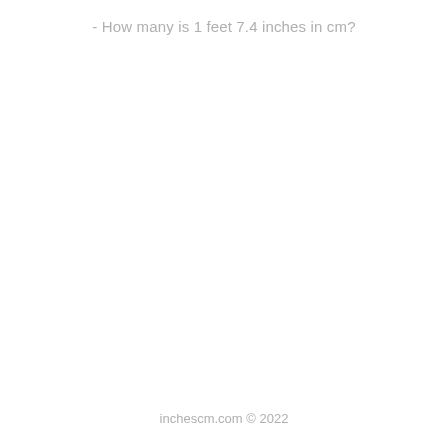- How many is 1 feet 7.4 inches in cm?
inchescm.com © 2022